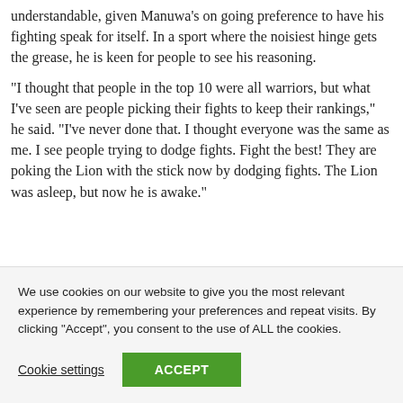understandable, given Manuwa's on going preference to have his fighting speak for itself. In a sport where the noisiest hinge gets the grease, he is keen for people to see his reasoning.
“I thought that people in the top 10 were all warriors, but what I’ve seen are people picking their fights to keep their rankings,” he said. “I’ve never done that. I thought everyone was the same as me. I see people trying to dodge fights. Fight the best! They are poking the Lion with the stick now by dodging fights. The Lion was asleep, but now he is awake.”
We use cookies on our website to give you the most relevant experience by remembering your preferences and repeat visits. By clicking “Accept”, you consent to the use of ALL the cookies.
Cookie settings
ACCEPT